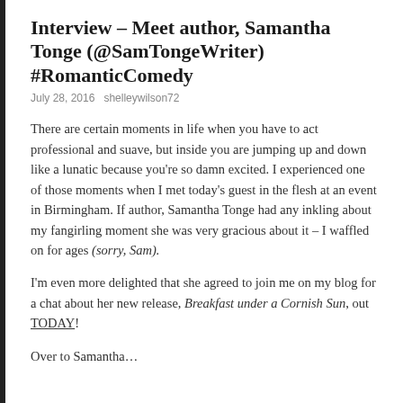Interview – Meet author, Samantha Tonge (@SamTongeWriter) #RomanticComedy
July 28, 2016   shelleywilson72
There are certain moments in life when you have to act professional and suave, but inside you are jumping up and down like a lunatic because you're so damn excited. I experienced one of those moments when I met today's guest in the flesh at an event in Birmingham. If author, Samantha Tonge had any inkling about my fangirling moment she was very gracious about it – I waffled on for ages (sorry, Sam).
I'm even more delighted that she agreed to join me on my blog for a chat about her new release, Breakfast under a Cornish Sun, out TODAY!
Over to Samantha…